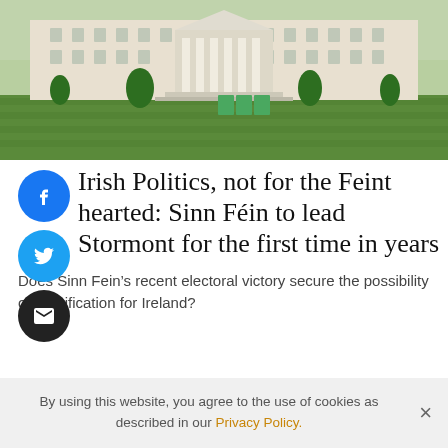[Figure (photo): Stormont Parliament Buildings in Belfast, Northern Ireland — a large neoclassical white building with columns, green lawns in foreground, trees, and portable toilets near the entrance.]
Irish Politics, not for the Feint hearted: Sinn Féin to lead Stormont for the first time in years
Does Sinn Fein's recent electoral victory secure the possibility of reunification for Ireland?
By using this website, you agree to the use of cookies as described in our Privacy Policy.